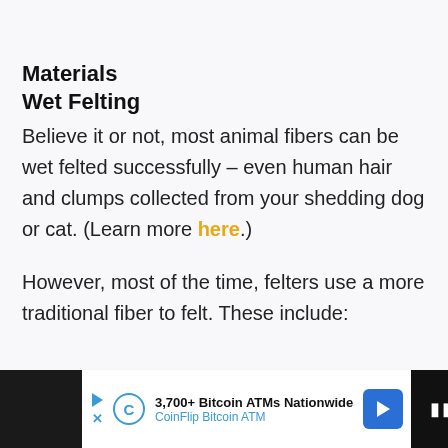Materials
Wet Felting
Believe it or not, most animal fibers can be wet felted successfully – even human hair and clumps collected from your shedding dog or cat. (Learn more here.)
However, most of the time, felters use a more traditional fiber to felt. These include:
[Figure (other): Advertisement banner for CoinFlip Bitcoin ATM showing '3,700+ Bitcoin ATMs Nationwide' with play button, CoinFlip logo, navigation arrow, and media controls.]